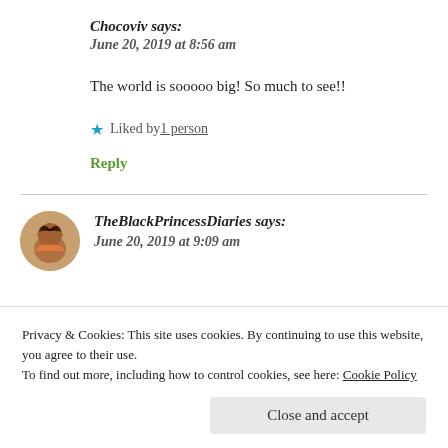Chocoviv says:
June 20, 2019 at 8:56 am
The world is sooooo big! So much to see!!
★ Liked by 1 person
Reply
TheBlackPrincessDiaries says:
June 20, 2019 at 9:09 am
Privacy & Cookies: This site uses cookies. By continuing to use this website, you agree to their use.
To find out more, including how to control cookies, see here: Cookie Policy
Close and accept